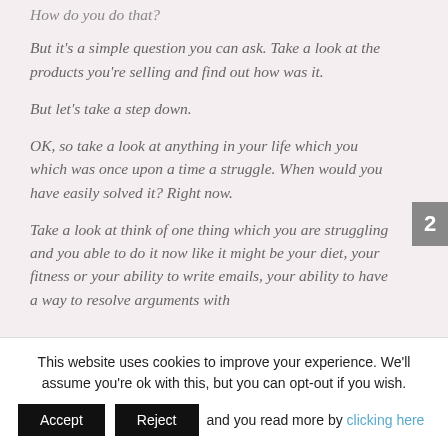How do you do that?
But it's a simple question you can ask. Take a look at the products you're selling and find out how was it.
But let's take a step down.
OK, so take a look at anything in your life which you which was once upon a time a struggle. When would you have easily solved it? Right now.
Take a look at think of one thing which you are struggling and you able to do it now like it might be your diet, your fitness or your ability to write emails, your ability to have a way to resolve arguments with
This website uses cookies to improve your experience. We'll assume you're ok with this, but you can opt-out if you wish. and you read more by clicking here